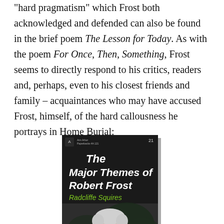“hard pragmatism” which Frost both acknowledged and defended can also be found in the brief poem The Lesson for Today. As with the poem For Once, Then, Something, Frost seems to directly respond to his critics, readers and, perhaps, even to his closest friends and family – acquaintances who may have accused Frost, himself, of the hard callousness he portrays in Home Burial:
[Figure (photo): Book cover of 'The Major Themes of Robert Frost' by Radcliffe Squires, showing a black-and-white photo of an elderly man (Robert Frost) in a suit with his hand raised to his chin, against a dark background with foliage. The title text appears in bold white italic lettering and the author name in green italic lettering.]